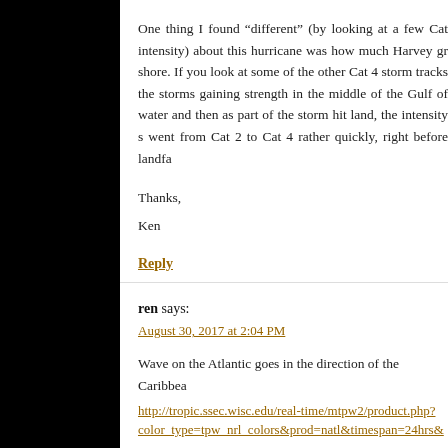One thing I found “different” (by looking at a few Cat intensity) about this hurricane was how much Harvey gr shore. If you look at some of the other Cat 4 storm tracks the storms gaining strength in the middle of the Gulf of water and then as part of the storm hit land, the intensity s went from Cat 2 to Cat 4 rather quickly, right before landfa
Thanks,
Ken
Reply
ren says:
August 30, 2017 at 2:04 PM
Wave on the Atlantic goes in the direction of the Caribbea
http://tropic.ssec.wisc.edu/real-time/mtpw2/product.php? color_type=tpw_nrl_colors&prod=natl&timespan=24hrs&